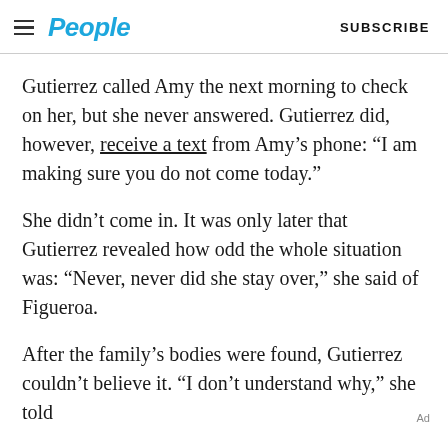People | SUBSCRIBE
Gutierrez called Amy the next morning to check on her, but she never answered. Gutierrez did, however, receive a text from Amy's phone: “I am making sure you do not come today.”
She didn’t come in. It was only later that Gutierrez revealed how odd the whole situation was: “Never, never did she stay over,” she said of Figueroa.
After the family’s bodies were found, Gutierrez couldn’t believe it. “I don’t understand why,” she told